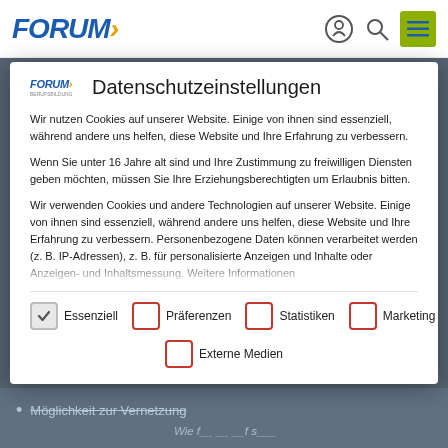[Figure (screenshot): Forum website navigation bar with Forum logo, location icon, search icon, and hamburger menu on green background]
Datenschutzeinstellungen
Wir nutzen Cookies auf unserer Website. Einige von ihnen sind essenziell, während andere uns helfen, diese Website und Ihre Erfahrung zu verbessern.
Wenn Sie unter 16 Jahre alt sind und Ihre Zustimmung zu freiwilligen Diensten geben möchten, müssen Sie Ihre Erziehungsberechtigten um Erlaubnis bitten.
Wir verwenden Cookies und andere Technologien auf unserer Website. Einige von ihnen sind essenziell, während andere uns helfen, diese Website und Ihre Erfahrung zu verbessern. Personenbezogene Daten können verarbeitet werden (z. B. IP-Adressen), z. B. für personalisierte Anzeigen und Inhalte oder Anzeigen- und Inhaltsmessung. Weitere Informationen
Essenziell (checked)
Präferenzen (unchecked)
Statistiken (unchecked)
Marketing (unchecked)
Externe Medien (unchecked)
Möglichkeit zur Vernetzung